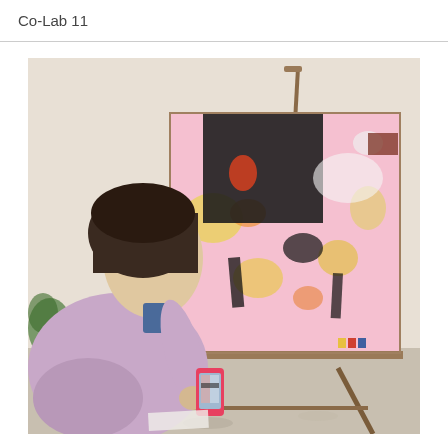Co-Lab 11
[Figure (photo): A person with short dark hair, wearing a lavender sweater and blue collared shirt, photographing a large colorful abstract painting on an easel with a pink smartphone. The painting features bold swaths of pink, black, yellow, orange, and white paint. The setting appears to be an art studio.]